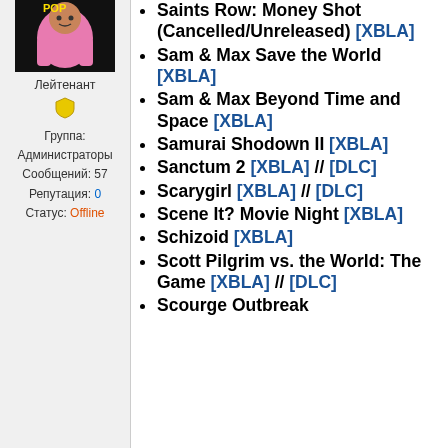[Figure (illustration): Avatar image of a cartoon character in pink clothing on black background]
Лейтенант
[Figure (illustration): Yellow shield/badge icon]
Группа: Администраторы
Сообщений: 57
Репутация: 0
Статус: Offline
Saints Row: Money Shot (Cancelled/Unreleased) [XBLA]
Sam & Max Save the World [XBLA]
Sam & Max Beyond Time and Space [XBLA]
Samurai Shodown II [XBLA]
Sanctum 2 [XBLA] // [DLC]
Scarygirl [XBLA] // [DLC]
Scene It? Movie Night [XBLA]
Schizoid [XBLA]
Scott Pilgrim vs. the World: The Game [XBLA] // [DLC]
Scourge Outbreak